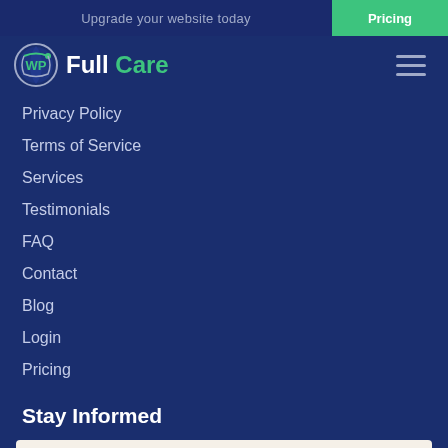Upgrade your website today
Pricing
[Figure (logo): WP Full Care logo with WP shield icon and green 'Care' text]
Privacy Policy
Terms of Service
Services
Testimonials
FAQ
Contact
Blog
Login
Pricing
Stay Informed
Enter email: